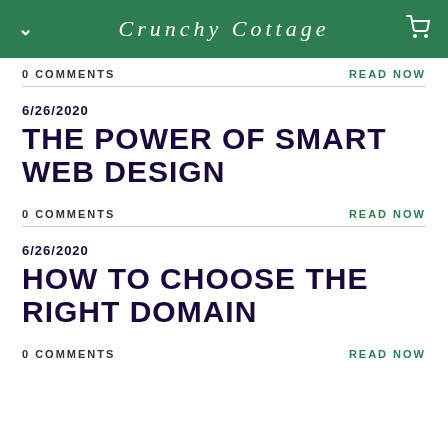Crunchy Cottage
0 COMMENTS
READ NOW
6/26/2020
THE POWER OF SMART WEB DESIGN
0 COMMENTS
READ NOW
6/26/2020
HOW TO CHOOSE THE RIGHT DOMAIN
0 COMMENTS
READ NOW